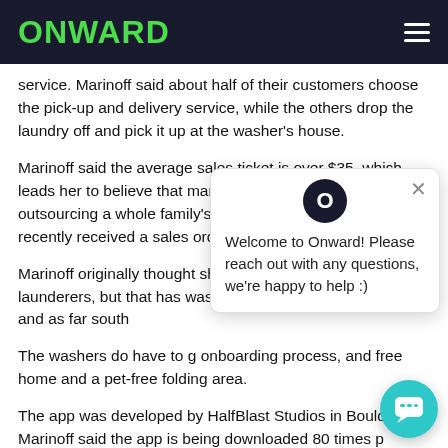ONWARD
service. Marinoff said about half of their customers choose the pick-up and delivery service, while the others drop the laundry off and pick it up at the washer's house.
Marinoff said the average sales ticket is over $35, which leads her to believe that many working parents are outsourcing a whole family's worth of laundry. She said they recently received a sales order that topped $100.
Marinoff originally thought she would have trouble finding launderers, but that has washers in the Denver ar Greeley and as far south
The washers do have to g onboarding process, and free home and a pet-free folding area.
The app was developed by HalfBlast Studios in Boulder Marinoff said the app is being downloaded 80 times p
The mother-and-son team have been creative in marketing